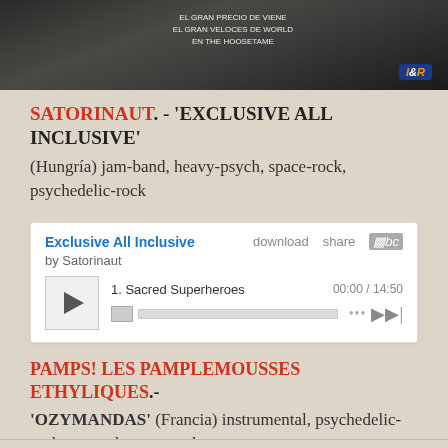[Figure (photo): Partial photo strip at top showing dark background with text and a blue/orange logo badge in the lower right corner]
SATORINAUT. - 'EXCLUSIVE ALL INCLUSIVE'
(Hungría) jam-band, heavy-psych, space-rock, psychedelic-rock
[Figure (screenshot): Bandcamp embedded music player showing 'Exclusive All Inclusive' by Satorinaut, with track 1: Sacred Superheroes, 00:00 / 14:50, play button, progress bar, and controls]
PAMPS! LES PAMPLEMOUSSES ETHYLIQUES. - 'OZYMANDAS' (Francia) instrumental, psychedelic-rock, space, heavy-psych, stoner